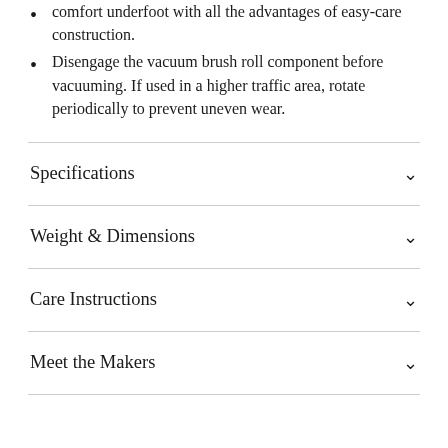comfort underfoot with all the advantages of easy-care construction.
Disengage the vacuum brush roll component before vacuuming. If used in a higher traffic area, rotate periodically to prevent uneven wear.
Specifications
Weight & Dimensions
Care Instructions
Meet the Makers